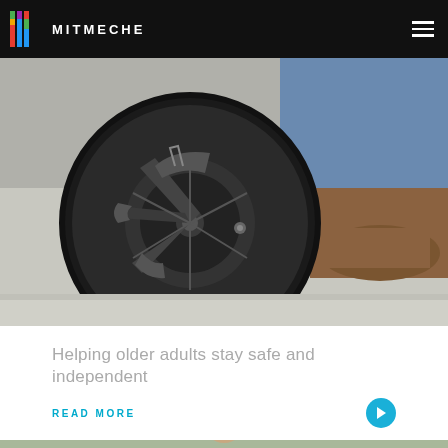MITMECHE
[Figure (photo): Close-up photo of a wheelchair wheel mechanism showing black mechanical components, with a person's leg and brown shoe visible in the background on a light floor.]
Helping older adults stay safe and independent
READ MORE
[Figure (photo): Photo of a person wearing a hijab, standing outdoors with green trees in background.]